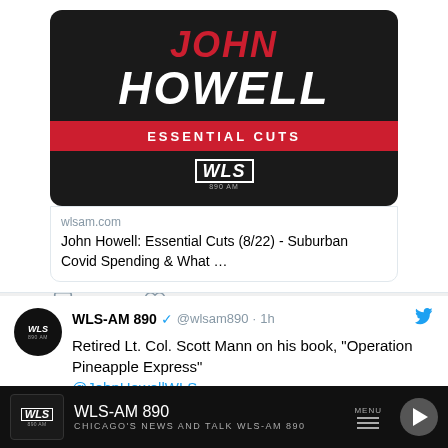[Figure (screenshot): John Howell Essential Cuts radio show promotional image on dark background with red banner and WLS logo]
wlsam.com
John Howell: Essential Cuts (8/22) - Suburban Covid Spending & What …
WLS-AM 890 @wlsam890 · 1h
Retired Lt. Col. Scott Mann on his book, "Operation Pineapple Express"
@JohnHowellWLS
WLS-AM 890
CHICAGO'S NEWS AND TALK WLS-AM 890